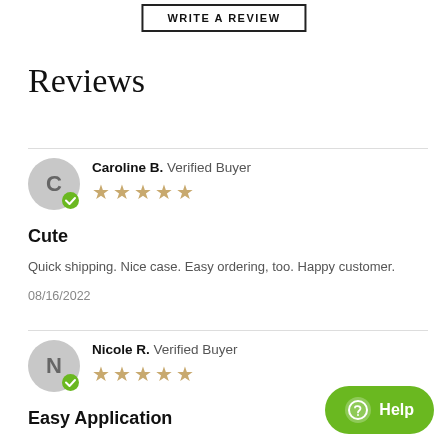WRITE A REVIEW
Reviews
Caroline B.  Verified Buyer
★★★★★
Cute
Quick shipping. Nice case. Easy ordering, too. Happy customer.
08/16/2022
Nicole R.  Verified Buyer
★★★★★
Easy Application